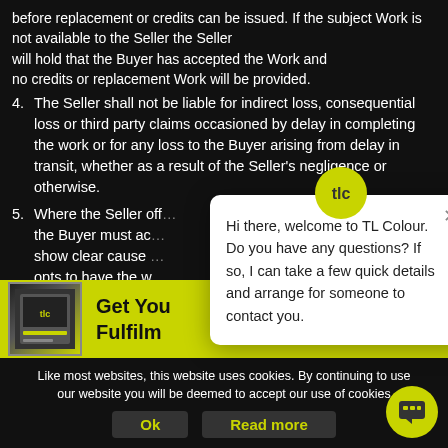before replacement or credits can be issued. If the subject Work is not available to the Seller the Seller will hold that the Buyer has accepted the Work and no credits or replacement Work will be provided.
4. The Seller shall not be liable for indirect loss, consequential loss or third party claims occasioned by delay in completing the work or for any loss to the Buyer arising from delay in transit, whether as a result of the Seller’s negligence or otherwise.
5. Where the Seller offers the Buyer must ac show clear cause opts to have the w
[Figure (screenshot): Yellow banner with TLC logo image and bold text 'Get You Fulfilm']
Like most websites, this website uses cookies. By continuing to use our website you will be deemed to accept our use of cookies
[Figure (infographic): Chat popup overlay with TLC logo, close button, and message: Hi there, welcome to TL Colour. Do you have any questions? If so, I can take a few quick details and arrange for someone to contact you.]
[Figure (logo): Yellow circular chat bubble button in bottom right corner]